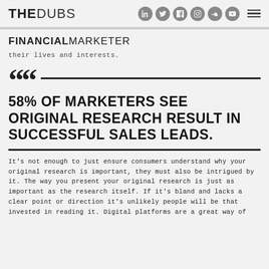THEDUBS | social icons | menu
FINANCIAL MARKETER
their lives and interests.
58% OF MARKETERS SEE ORIGINAL RESEARCH RESULT IN SUCCESSFUL SALES LEADS.
It's not enough to just ensure consumers understand why your original research is important, they must also be intrigued by it. The way you present your original research is just as important as the research itself. If it's bland and lacks a clear point or direction it's unlikely people will be that invested in reading it. Digital platforms are a great way of